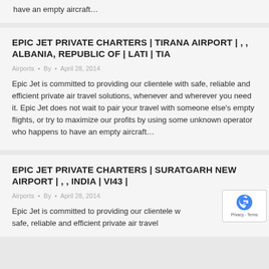have an empty aircraft…
EPIC JET PRIVATE CHARTERS | TIRANA AIRPORT | , , ALBANIA, REPUBLIC OF | LATI | TIA
Airports • By • April 28, 2014
Epic Jet is committed to providing our clientele with safe, reliable and efficient private air travel solutions, whenever and wherever you need it. Epic Jet does not wait to pair your travel with someone else's empty flights, or try to maximize our profits by using some unknown operator who happens to have an empty aircraft…
EPIC JET PRIVATE CHARTERS | SURATGARH NEW AIRPORT | , , INDIA | VI43 |
Airports • By • April 28, 2014
Epic Jet is committed to providing our clientele with safe, reliable and efficient private air travel